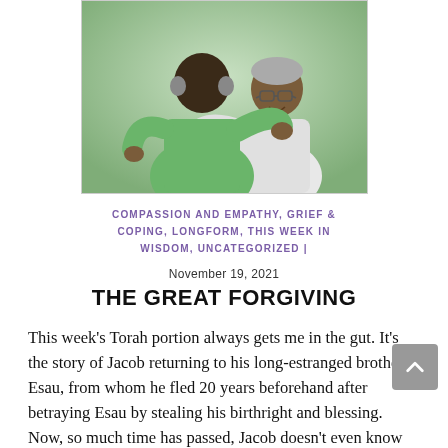[Figure (photo): Two elderly men embracing in a warm hug, one wearing a green vest and the other a white shirt with glasses, against a green background.]
COMPASSION AND EMPATHY, GRIEF & COPING, LONGFORM, THIS WEEK IN WISDOM, UNCATEGORIZED |
November 19, 2021
THE GREAT FORGIVING
This week's Torah portion always gets me in the gut. It's the story of Jacob returning to his long-estranged brother Esau, from whom he fled 20 years beforehand after betraying Esau by stealing his birthright and blessing. Now, so much time has passed, Jacob doesn't even know Esau